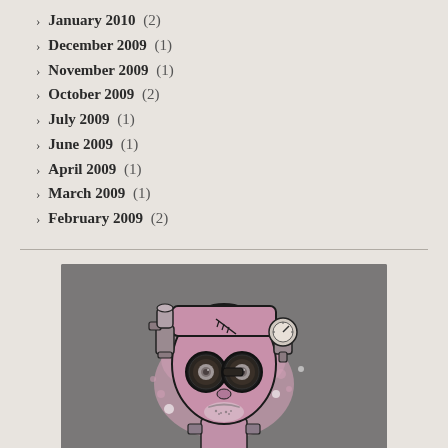January 2010 (2)
December 2009 (1)
November 2009 (1)
October 2009 (2)
July 2009 (1)
June 2009 (1)
April 2009 (1)
March 2009 (1)
February 2009 (2)
[Figure (illustration): Stylized steampunk Frankenstein monster illustration with mechanical goggles, bolts, gauges and pipes on head, pink/purple color scheme on grey background]